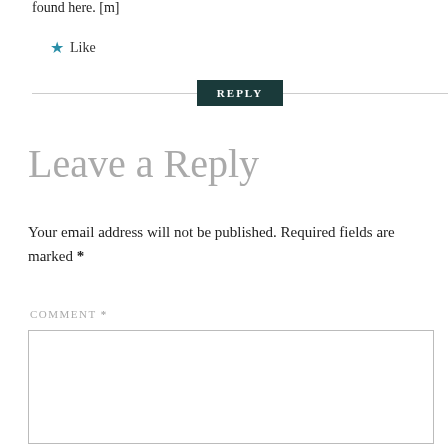found here. [m]
★ Like
REPLY
Leave a Reply
Your email address will not be published. Required fields are marked *
COMMENT *